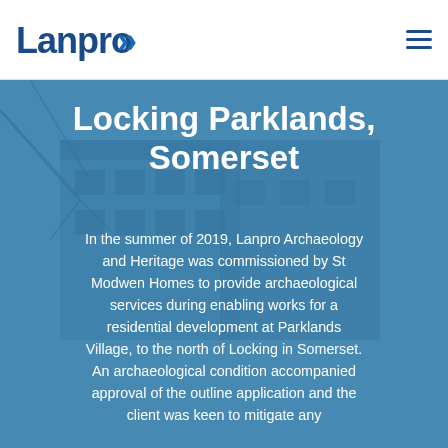[Figure (logo): Lanpro logo with double chevron arrows in dark blue]
Lanpro
Locking Parklands, Somerset
In the summer of 2019, Lanpro Archaeology and Heritage was commissioned by St Modwen Homes to provide archaeological services during enabling works for a residential development at Parklands Village, to the north of Locking in Somerset. An archaeological condition accompanied approval of the outline application and the client was keen to mitigate any